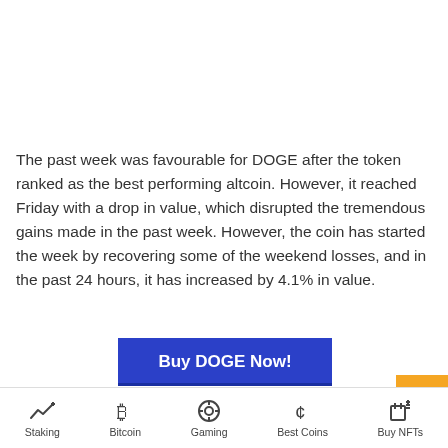The past week was favourable for DOGE after the token ranked as the best performing altcoin. However, it reached Friday with a drop in value, which disrupted the tremendous gains made in the past week. However, the coin has started the week by recovering some of the weekend losses, and in the past 24 hours, it has increased by 4.1% in value.
[Figure (other): Blue button with text 'Buy DOGE Now!']
Dogecoin's higher resistance stands at $0.30 and $0.40
Staking | Bitcoin | Gaming | Best Coins | Buy NFTs